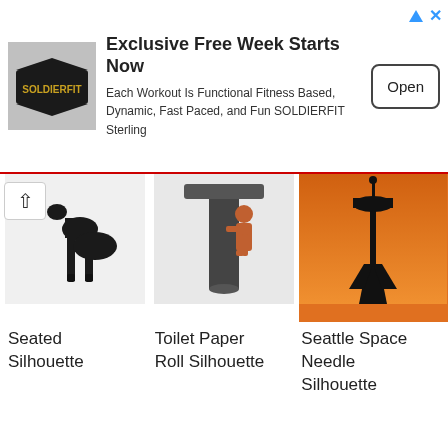[Figure (infographic): Advertisement banner for SOLDIERFIT Sterling: logo on left, headline 'Exclusive Free Week Starts Now', description text, and an Open button on the right.]
[Figure (photo): Seated silhouette image (partial, animal/person silhouette)]
[Figure (illustration): Toilet paper roll silhouette illustration]
[Figure (photo): Seattle Space Needle silhouette against orange sunset sky]
Seated Silhouette
Toilet Paper Roll Silhouette
Seattle Space Needle Silhouette
Cliparts
[Figure (illustration): Muscular eagle mascot clipart in blue outfit]
[Figure (illustration): Two children at a toilet clipart]
[Figure (logo): Red navy and white emblem/logo clipart]